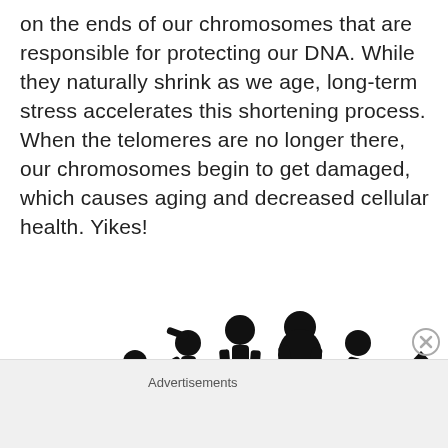on the ends of our chromosomes that are responsible for protecting our DNA. While they naturally shrink as we age, long-term stress accelerates this shortening process. When the telomeres are no longer there, our chromosomes begin to get damaged, which causes aging and decreased cellular health. Yikes!
[Figure (illustration): Silhouette illustration showing stages of human life from crawling baby to toddler, child, teenager, young adult, middle-aged adult, elderly person with cane, and finally a RIP gravestone — depicting the aging and death progression.]
Advertisements